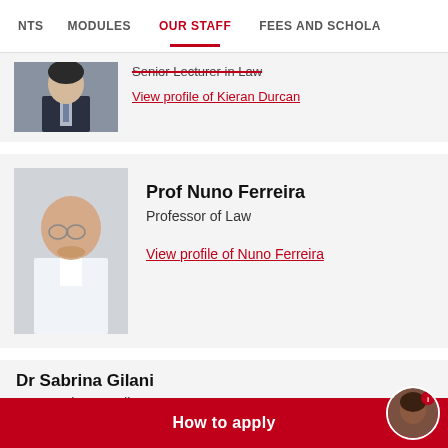NTS   MODULES   OUR STAFF   FEES AND SCHOLA
Senior Lecturer in Law
View profile of Kieran Durcan
Prof Nuno Ferreira
Professor of Law
View profile of Nuno Ferreira
Dr Sabrina Gilani
Lecturer in Canadian Law
How to apply